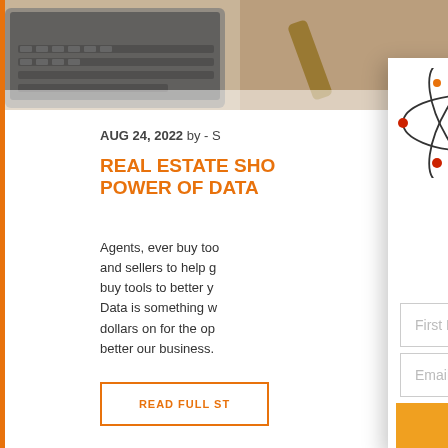[Figure (screenshot): Background photo of laptop keyboard and hands writing, partially visible at top of page]
[Figure (logo): Lab Coat Agents logo: atom/orbital icon with house in center circle, orange LAB/AGE text (partially cropped)]
AUG 24, 2022 by - S
REAL ESTATE SHO... POWER OF DATA
Agents, ever buy too... and sellers to help g... buy tools to better y... Data is something w... dollars on for the op... better our business.
READ FULL ST
Scripts & Dialogue For Re... Agents
Ready-to-use scripts for expireds, onlin... prospecting, & more! Download...
First Name
Email
SEND ME THE SCRIP